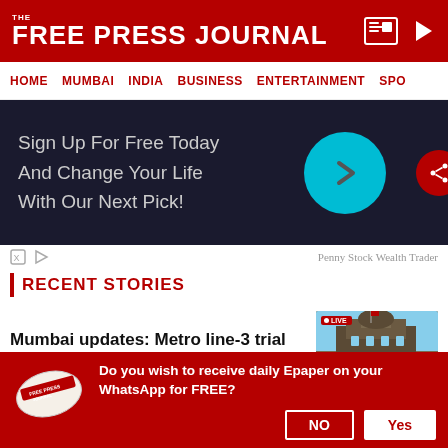THE FREE PRESS JOURNAL
HOME  MUMBAI  INDIA  BUSINESS  ENTERTAINMENT  SPO
[Figure (screenshot): Advertisement banner with dark background. Text reads 'Sign Up For Free Today And Change Your Life With Our Next Pick!' with a cyan circular arrow button. Ad attributed to Penny Stock Wealth Trader.]
RECENT STORIES
Mumbai updates: Metro line-3 trial run begins
[Figure (photo): News thumbnail showing Mumbai CST railway station building with LIVE badge overlay]
Do you wish to receive daily Epaper on your WhatsApp for FREE?